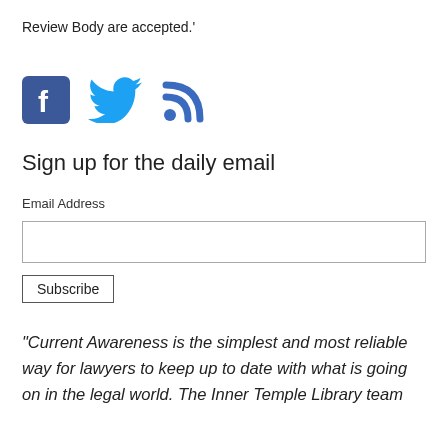Review Body are accepted.'
[Figure (illustration): Social media icons: Facebook (blue square with white f), Twitter (blue bird), RSS feed (blue signal icon)]
Sign up for the daily email
Email Address
Subscribe
“Current Awareness is the simplest and most reliable way for lawyers to keep up to date with what is going on in the legal world. The Inner Temple Library team